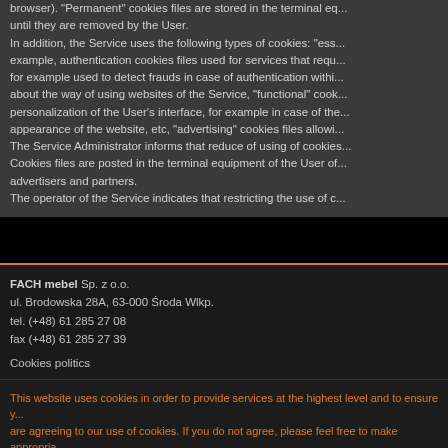browser). "Permanent" cookies files are stored in the terminal equipment until they are removed by the User. In addition, the Service uses the following types of cookies: "ess... example, authentication cookies files used for services that requ... for example used to detect frauds in case of authentication withi... about the way of using websites of the Service, "functional" cook... personalization of the User's interface, for example in case of the... appearance of the website, etc, "advertising" cookies files allowi... The Service Administrator informs that reduce of using of cookies... Cookies files are posted in the terminal equipment of the User o... advertisers and partners. The operator of the Service indicates that restricting the use of c...
FACH mebel Sp. z o.o.
ul. Brodowska 28A, 63-000 Środa Wlkp.
tel. (+48) 61 285 27 08
fax (+48) 61 285 27 39
Cookies politics
This website uses cookies in order to provide services at the highest level and to ensure y... are agreeing to our use of cookies. If you do not agree, please feel free to make appropria...
Close